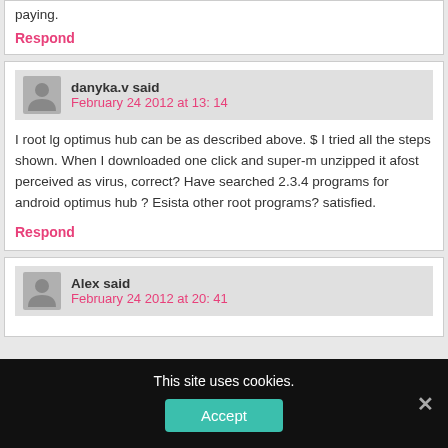paying.
Respond
danyka.v said
February 24 2012 at 13: 14
I root lg optimus hub can be as described above. $ I tried all the steps shown. When I downloaded one click and super-m unzipped it afost perceived as virus, correct? Have searched 2.3.4 programs for android optimus hub ? Esista other root programs? satisfied.
Respond
Alex said
February 24 2012 at 20: 41
This site uses cookies.
Accept